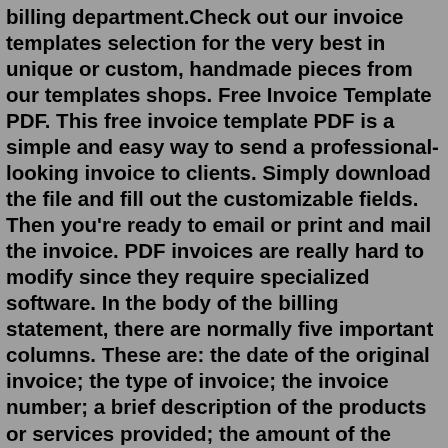billing department.Check out our invoice templates selection for the very best in unique or custom, handmade pieces from our templates shops. Free Invoice Template PDF. This free invoice template PDF is a simple and easy way to send a professional-looking invoice to clients. Simply download the file and fill out the customizable fields. Then you're ready to email or print and mail the invoice. PDF invoices are really hard to modify since they require specialized software. In the body of the billing statement, there are normally five important columns. These are: the date of the original invoice; the type of invoice; the invoice number; a brief description of the products or services provided; the amount of the original invoice; the amount that has been paid for the original invoice; the remaining balance that still needs to be paid; Beyond that, the billing statement should include the due date (for example: the balance is due in 30 days).Our invoice generator gives you two easy options to send an invoice. First, compose an email to your client. You can include a link to your